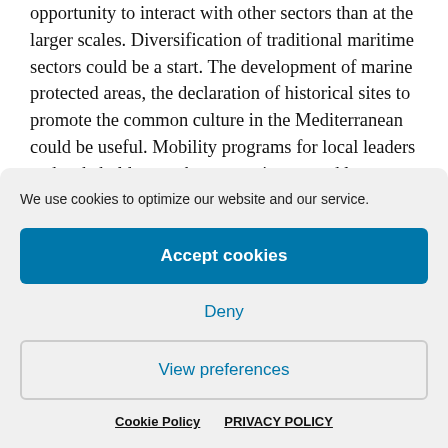opportunity to interact with other sectors than at the larger scales. Diversification of traditional maritime sectors could be a start. The development of marine protected areas, the declaration of historical sites to promote the common culture in the Mediterranean could be useful. Mobility programs for local leaders and stakeholders to share experiences and lessons learnt
We use cookies to optimize our website and our service.
Accept cookies
Deny
View preferences
Cookie Policy   PRIVACY POLICY